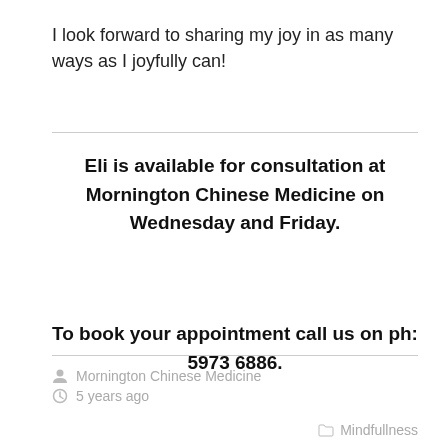I look forward to sharing my joy in as many ways as I joyfully can!
Eli is available for consultation at Mornington Chinese Medicine on Wednesday and Friday.

To book your appointment call us on ph: 5973 6886.
Mornington Chinese Medicine
5 years ago
Mindfullness